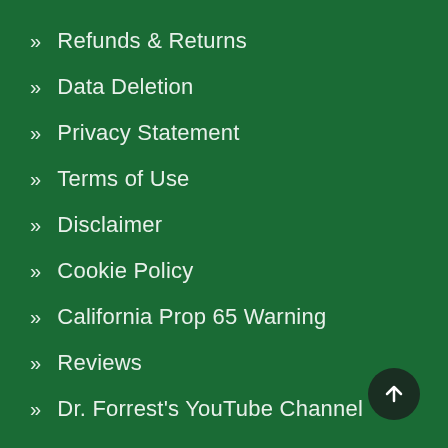» Refunds & Returns
» Data Deletion
» Privacy Statement
» Terms of Use
» Disclaimer
» Cookie Policy
» California Prop 65 Warning
» Reviews
» Dr. Forrest's YouTube Channel